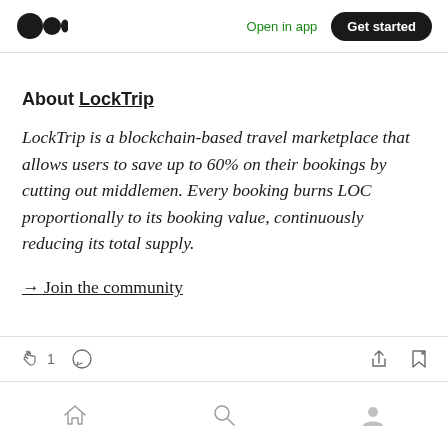Open in app | Get started
About LockTrip
LockTrip is a blockchain-based travel marketplace that allows users to save up to 60% on their bookings by cutting out middlemen. Every booking burns LOC proportionally to its booking value, continuously reducing its total supply.
→ Join the community
Action bar: clap 1, comment, share, bookmark. Bottom nav: home, search, profile.